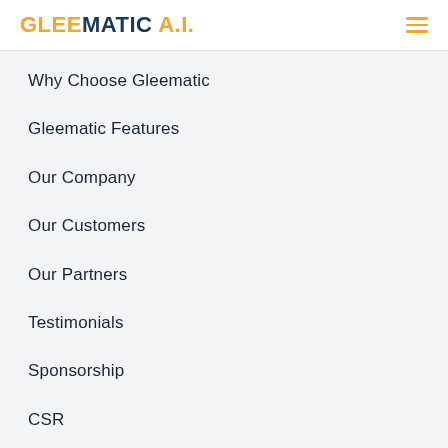GLEEMATIC A.I.
Why Choose Gleematic
Gleematic Features
Our Company
Our Customers
Our Partners
Testimonials
Sponsorship
CSR
Industries
Resources